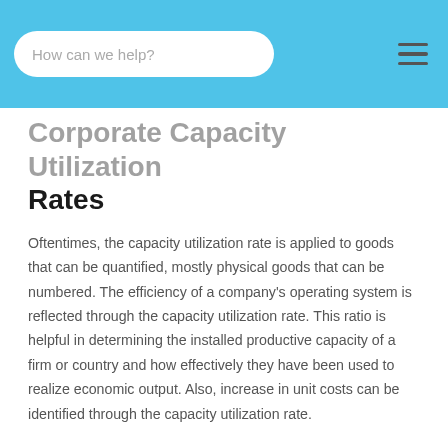How can we help?
Corporate Capacity Utilization Rates
Oftentimes, the capacity utilization rate is applied to goods that can be quantified, mostly physical goods that can be numbered. The efficiency of a company's operating system is reflected through the capacity utilization rate. This ratio is helpful in determining the installed productive capacity of a firm or country and how effectively they have been used to realize economic output. Also, increase in unit costs can be identified through the capacity utilization rate.
Historical Capacity Utilization Rates